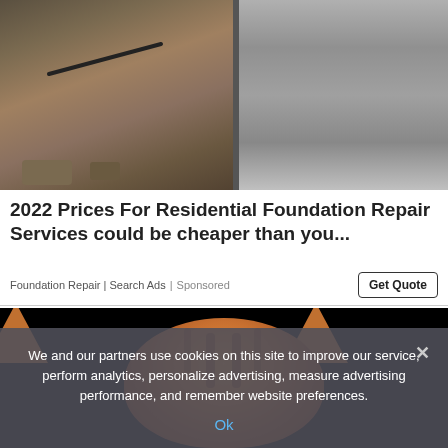[Figure (photo): Construction photo showing foundation excavation with dirt, rubble, cables, and concrete/stone wall visible]
2022 Prices For Residential Foundation Repair Services could be cheaper than you...
Foundation Repair | Search Ads | Sponsored
[Figure (photo): Close-up photo of the top of an orange tabby cat's head on a black background, viewed from above]
We and our partners use cookies on this site to improve our service, perform analytics, personalize advertising, measure advertising performance, and remember website preferences.